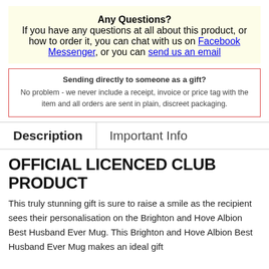Any Questions?
If you have any questions at all about this product, or how to order it, you can chat with us on Facebook Messenger, or you can send us an email
Sending directly to someone as a gift?
No problem - we never include a receipt, invoice or price tag with the item and all orders are sent in plain, discreet packaging.
Description | Important Info
OFFICIAL LICENCED CLUB PRODUCT
This truly stunning gift is sure to raise a smile as the recipient sees their personalisation on the Brighton and Hove Albion Best Husband Ever Mug. This Brighton and Hove Albion Best Husband Ever Mug makes an ideal gift